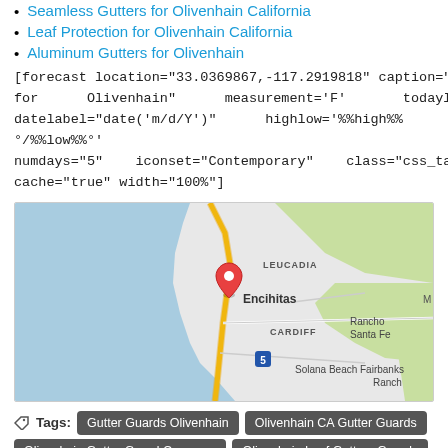Seamless Gutters for Olivenhain California
Leaf Protection for Olivenhain California
Aluminum Gutters for Olivenhain
[forecast location="33.0369867,-117.2919818" caption="Weather for Olivenhain" measurement='F' todaylabel="Today" datelabel="date('m/d/Y')" highlow='%%high%%°/%%low%%°' numdays="5" iconset="Contemporary" class="css_table_class" cache="true" width="100%"]
[Figure (map): Google map showing Leucadia, Encihitas, Cardiff, Rancho Santa Fe, Solana Beach, and Fairbanks Ranch area of coastal San Diego County, California with a red location pin marker near Encihitas.]
Tags: Gutter Guards Olivenhain  Olivenhain CA Gutter Guards  Olivenhain Gutter Guard Company  Olivenhain Leaf Gutters Guards